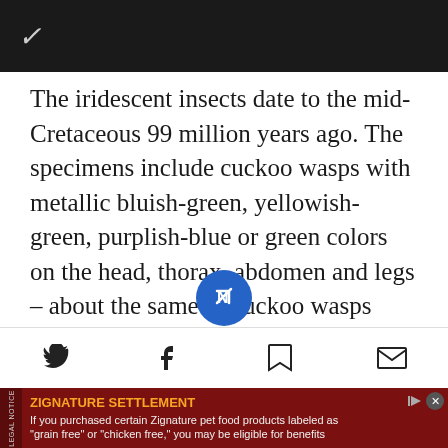✓
The iridescent insects date to the mid-Cretaceous 99 million years ago. The specimens include cuckoo wasps with metallic bluish-green, yellowish-green, purplish-blue or green colors on the head, thorax, abdomen and legs – about the same as cuckoo wasps extant today, Cai says. Cuckoo wasps earned their name by being parasitic: they lay their eggs in host nests (such as bee hives). Their
[Figure (screenshot): Mobile navigation bar with Twitter, Facebook, news app center button, bookmark, and mail icons]
[Figure (screenshot): Advertisement banner: ZIGNATURE SETTLEMENT legal notice. If you purchased certain Zignature pet food products labeled as 'grain free' or 'chicken free,' you may be eligible for benefits]